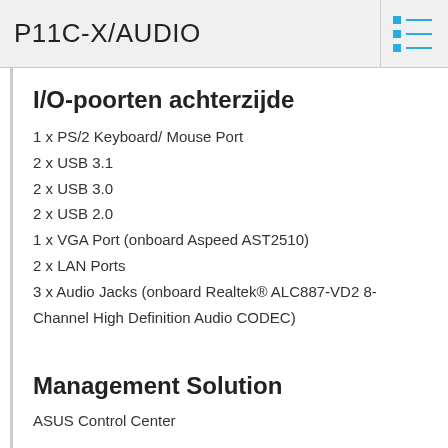P11C-X/AUDIO
I/O-poorten achterzijde
1 x PS/2 Keyboard/ Mouse Port
2 x USB 3.1
2 x USB 3.0
2 x USB 2.0
1 x VGA Port (onboard Aspeed AST2510)
2 x LAN Ports
3 x Audio Jacks (onboard Realtek® ALC887-VD2 8-Channel High Definition Audio CODEC)
Management Solution
ASUS Control Center